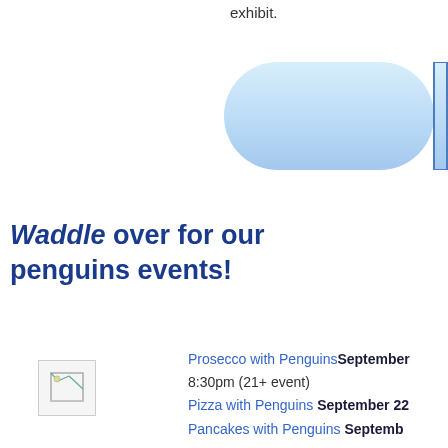exhibit.
[Figure (other): Light blue rounded pill/capsule shape decorative element, partially cut off at right edge]
Waddle over for our penguins events!
[Figure (photo): Small broken/placeholder image icon]
Prosecco with Penguins September [date] 8:30pm (21+ event)
Pizza with Penguins September 22
Pancakes with Penguins September [date]